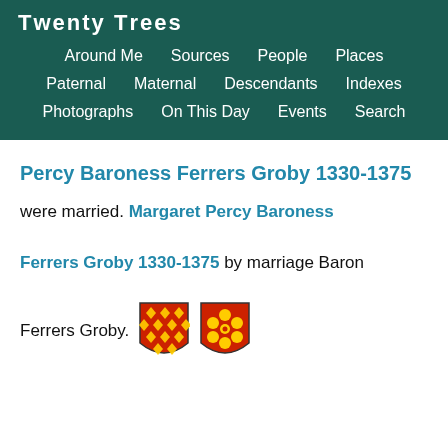TWENTY TREES
Around Me  Sources  People  Places  Paternal  Maternal  Descendants  Indexes  Photographs  On This Day  Events  Search
Percy Baroness Ferrers Groby 1330-1375
were married. Margaret Percy Baroness Ferrers Groby 1330-1375 by marriage Baron Ferrers Groby.
[Figure (illustration): Two heraldic coat of arms shields: first shield with red and gold diamond/lozenge pattern, second shield with red background and gold flower/cinquefoil]